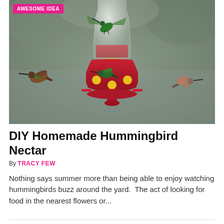[Figure (photo): Multiple hummingbirds perched on and hovering around a red hummingbird feeder with a clear glass reservoir, set against a blurred green/grey outdoor background. A pink 'AWESOME IDEA' badge appears in the top-left corner of the image.]
DIY Homemade Hummingbird Nectar
By TRACY FEW
Nothing says summer more than being able to enjoy watching hummingbirds buzz around the yard.  The act of looking for food in the nearest flowers or...